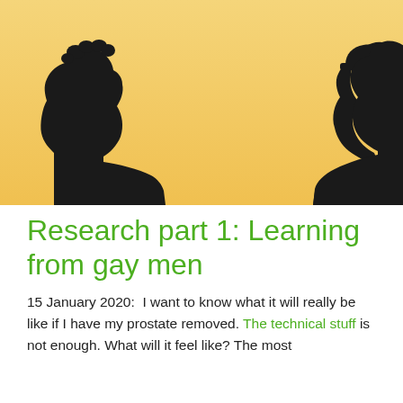[Figure (photo): Two male silhouettes facing each other against a warm orange-yellow gradient background. Left figure has curly hair, right figure wears a cap. Both are shown in dark/black silhouette from shoulders up.]
Research part 1: Learning from gay men
15 January 2020:  I want to know what it will really be like if I have my prostate removed. The technical stuff is not enough. What will it feel like? The most